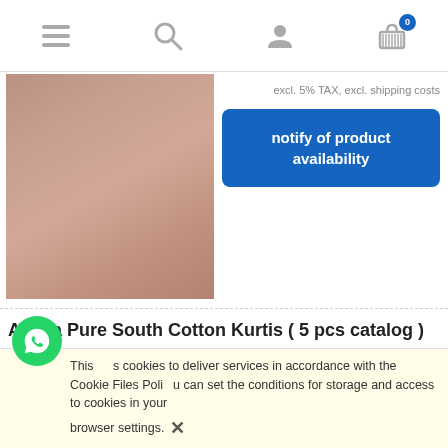Navigation bar with hamburger menu, search, user, and cart (0 items) icons
[Figure (photo): Product image of a pink/mauve salwar kameez suit with combo tag]
excl. 5% TAX, excl. shipping costs
notify of product availability
Alisha Pure South Cotton Kurtis ( 5 pcs catalog )
[Figure (photo): Product image of a blue/grey south cotton kurti with embroidery]
₹ 3,745.00
( 1 pcs = ₹ 749.00 )
excl. 5% TAX, excl. shipping costs
notify of product availability
This site uses cookies to deliver services in accordance with the Cookie Files Policy. You can set the conditions for storage and access to cookies in your browser settings. ✕